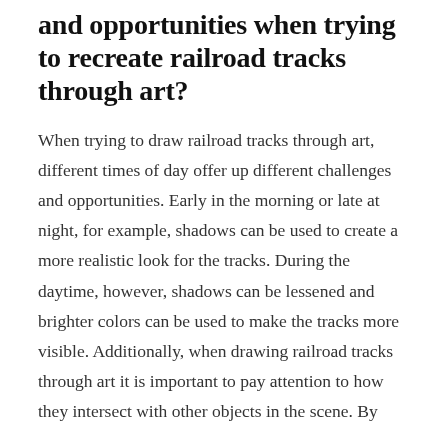and opportunities when trying to recreate railroad tracks through art?
When trying to draw railroad tracks through art, different times of day offer up different challenges and opportunities. Early in the morning or late at night, for example, shadows can be used to create a more realistic look for the tracks. During the daytime, however, shadows can be lessened and brighter colors can be used to make the tracks more visible. Additionally, when drawing railroad tracks through art it is important to pay attention to how they intersect with other objects in the scene. By